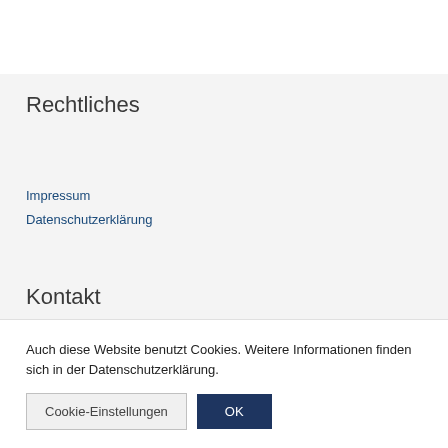Rechtliches
Impressum
Datenschutzerklärung
Kontakt
Auch diese Website benutzt Cookies. Weitere Informationen finden sich in der Datenschutzerklärung.
Cookie-Einstellungen
OK